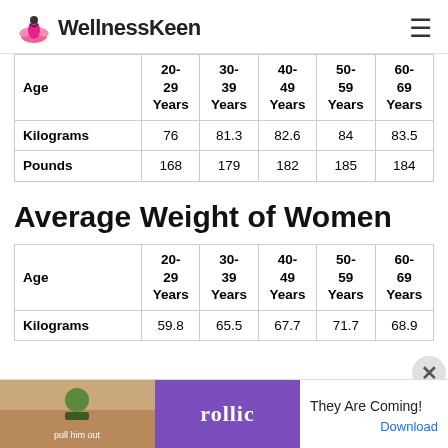WellnessKeen
| Age | 20-29 Years | 30-39 Years | 40-49 Years | 50-59 Years | 60-69 Years |
| --- | --- | --- | --- | --- | --- |
| Kilograms | 76 | 81.3 | 82.6 | 84 | 83.5 |
| Pounds | 168 | 179 | 182 | 185 | 184 |
Average Weight of Women
| Age | 20-29 Years | 30-39 Years | 40-49 Years | 50-59 Years | 60-69 Years |
| --- | --- | --- | --- | --- | --- |
| Kilograms | 59.8 | 65.5 | 67.7 | 71.7 | 68.9 |